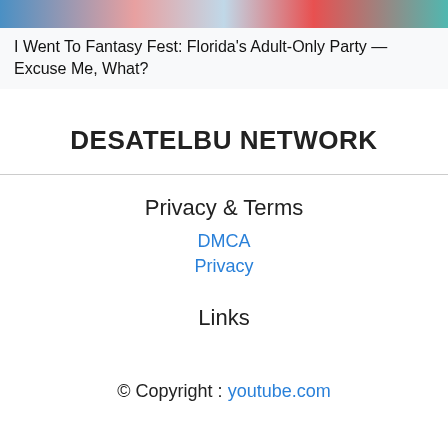[Figure (photo): Colorful image strip showing people at a festival, partial view at top of page]
I Went To Fantasy Fest: Florida's Adult-Only Party — Excuse Me, What?
DESATELBU NETWORK
Privacy & Terms
DMCA
Privacy
Links
© Copyright : youtube.com